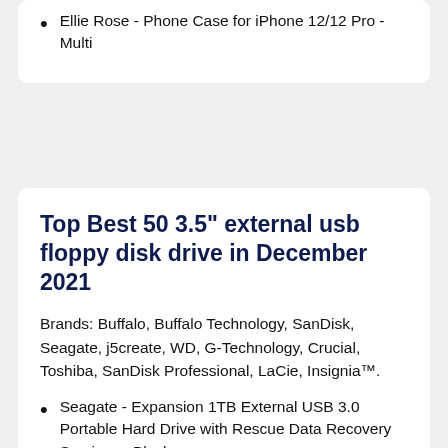Ellie Rose - Phone Case for iPhone 12/12 Pro - Multi
Top Best 50 3.5" external usb floppy disk drive in December 2021
Brands: Buffalo, Buffalo Technology, SanDisk, Seagate, j5create, WD, G-Technology, Crucial, Toshiba, SanDisk Professional, LaCie, Insignia™.
Seagate - Expansion 1TB External USB 3.0 Portable Hard Drive with Rescue Data Recovery Services - Black
Toshiba - Canvio Flex 2TB External USB 3.0 Portable Hard Drive - Silver
Toshiba - Canvio 2TB External USB 3.0 Portable